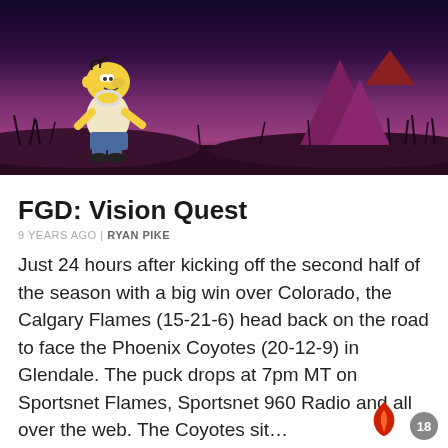[Figure (illustration): Homer Simpson walking in a purple/dark landscape scene, resembling a vision quest animation still]
FGD: Vision Quest
9 YEARS AGO | RYAN PIKE
Just 24 hours after kicking off the second half of the season with a big win over Colorado, the Calgary Flames (15-21-6) head back on the road to face the Phoenix Coyotes (20-12-9) in Glendale. The puck drops at 7pm MT on Sportsnet Flames, Sportsnet 960 Radio and all over the web. The Coyotes sit…